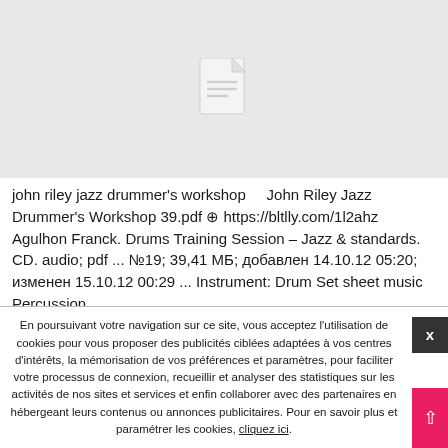[Figure (illustration): Gray preview box with a document file icon (white page with lines) centered in it]
john riley jazz drummer's workshop    John Riley Jazz Drummer's Workshop 39.pdf ⊕ https://bltlly.com/1l2ahz
Agulhon Franck. Drums Training Session – Jazz & standards. CD. audio; pdf ... №19; 39,41 МБ; добавлен 14.10.12 05:20; изменен 15.10.12 00:29 ... Instrument: Drum Set sheet music Percussion ...
En poursuivant votre navigation sur ce site, vous acceptez l'utilisation de cookies pour vous proposer des publicités ciblées adaptées à vos centres d'intérêts, la mémorisation de vos préférences et paramètres, pour faciliter votre processus de connexion, recueillir et analyser des statistiques sur les activités de nos sites et services et enfin collaborer avec des partenaires en hébergeant leurs contenus ou annonces publicitaires. Pour en savoir plus et paramétrer les cookies, cliquez ici.